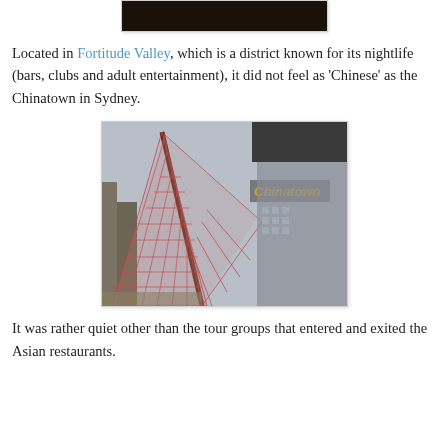[Figure (photo): Partially visible dark photo at the top of the page, cropped]
Located in Fortitude Valley, which is a district known for its nightlife (bars, clubs and adult entertainment), it did not feel as 'Chinese' as the Chinatown in Sydney.
[Figure (photo): Architectural photo looking up at a red lattice/grid canopy structure with a pointed triangular shape against a cloudy sky, with a building sign reading 'Chinatown' visible in the background]
It was rather quiet other than the tour groups that entered and exited the Asian restaurants.